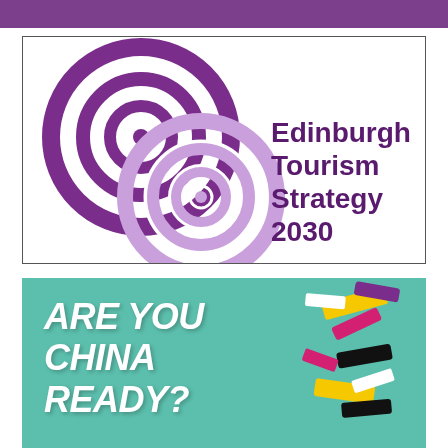[Figure (logo): Purple horizontal bar at top of page]
[Figure (logo): Edinburgh Tourism Strategy 2030 logo: two overlapping concentric circle targets in dark purple and light purple/lavender, with bold dark purple text 'Edinburgh Tourism Strategy 2030' on the right side, inside a rectangular border.]
[Figure (infographic): Teal/mint green banner reading 'ARE YOU CHINA READY?' in large bold white italic text, with a colourful stylized Chinese character (欢迎 - welcome) made of multi-coloured brush strokes in yellow, purple, pink, black and white on the right side.]